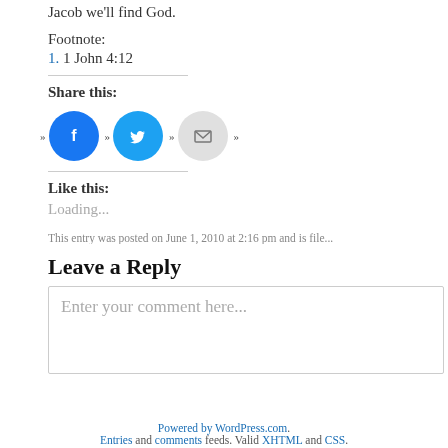Jacob we'll find God.
Footnote:
1. 1 John 4:12
Share this:
[Figure (other): Social sharing icons: Facebook (blue circle with f), Twitter (blue circle with bird), Email (grey circle with envelope), with chevron decorators]
Like this:
Loading...
This entry was posted on June 1, 2010 at 2:16 pm and is file...
Leave a Reply
Enter your comment here...
Powered by WordPress.com. Entries and comments feeds. Valid XHTML and CSS.